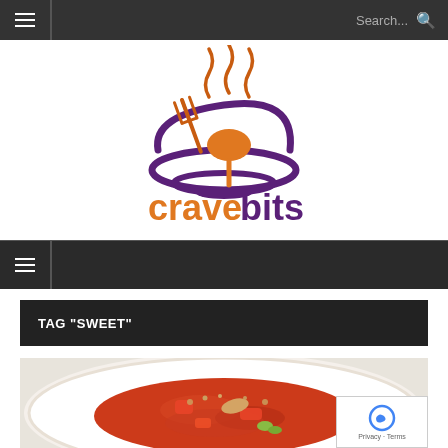Navigation bar with hamburger menu and search
[Figure (logo): CraveBits logo: purple bowl with orange spoon and fork, steam rising, text 'cravebits' with 'crave' in orange and 'bits' in purple]
Secondary navigation bar with hamburger menu
TAG "SWEET"
[Figure (photo): Food photo: a dish with tomato sauce, nuts (almonds, edamame), and grain toppings served in a white bowl/plate, viewed from above]